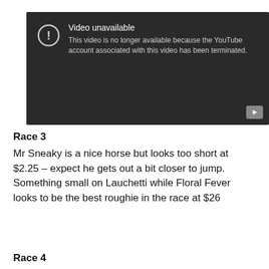[Figure (screenshot): YouTube video unavailable error screen with dark background. Shows an exclamation mark icon in a circle, title 'Video unavailable', and message 'This video is no longer available because the YouTube account associated with this video has been terminated.' A play button appears in the bottom right corner.]
Race 3
Mr Sneaky is a nice horse but looks too short at $2.25 – expect he gets out a bit closer to jump. Something small on Lauchetti while Floral Fever looks to be the best roughie in the race at $26
Race 4